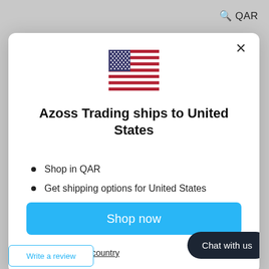🔍 QAR
[Figure (illustration): US flag emoji/illustration centered in modal dialog]
Azoss Trading ships to United States
Shop in QAR
Get shipping options for United States
Shop now
Change shipping country
Chat with us
Write a review